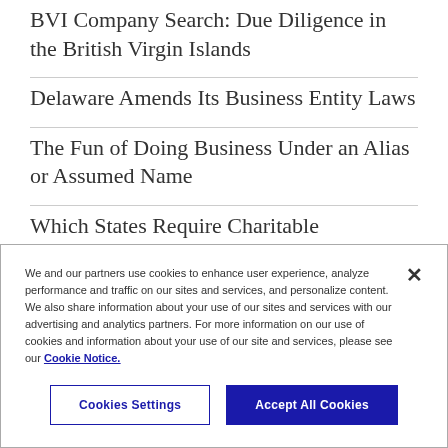BVI Company Search: Due Diligence in the British Virgin Islands
Delaware Amends Its Business Entity Laws
The Fun of Doing Business Under an Alias or Assumed Name
Which States Require Charitable Solicitation Registration for Nonprofits?
We and our partners use cookies to enhance user experience, analyze performance and traffic on our sites and services, and personalize content. We also share information about your use of our sites and services with our advertising and analytics partners. For more information on our use of cookies and information about your use of our site and services, please see our Cookie Notice.